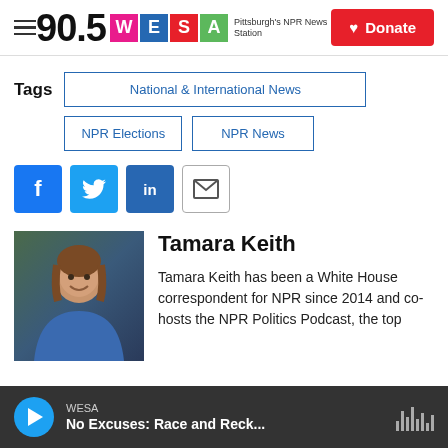90.5 WESA Pittsburgh's NPR News Station | Donate
Tags
National & International News
NPR Elections
NPR News
[Figure (other): Social share buttons: Facebook, Twitter, LinkedIn, Email]
[Figure (photo): Portrait photo of Tamara Keith, smiling woman in blue dress]
Tamara Keith
Tamara Keith has been a White House correspondent for NPR since 2014 and co-hosts the NPR Politics Podcast, the top
WESA | No Excuses: Race and Reck...